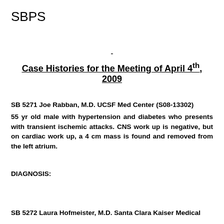SBPS
-
Case Histories for the Meeting of April 4th, 2009
SB 5271 Joe Rabban, M.D. UCSF Med Center (S08-13302)
55 yr old male with hypertension and diabetes who presents with transient ischemic attacks. CNS work up is negative, but on cardiac work up, a 4 cm mass is found and removed from the left atrium.
DIAGNOSIS:
SB 5272 Laura Hofmeister, M.D. Santa Clara Kaiser Medical